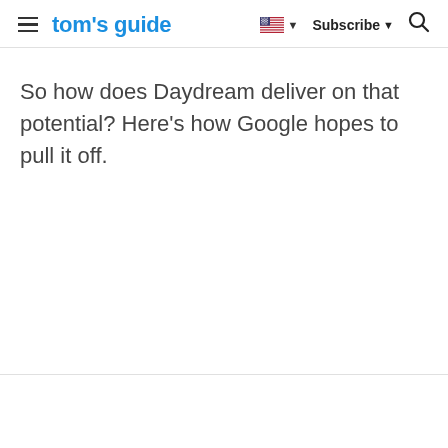tom's guide | Subscribe
So how does Daydream deliver on that potential? Here's how Google hopes to pull it off.